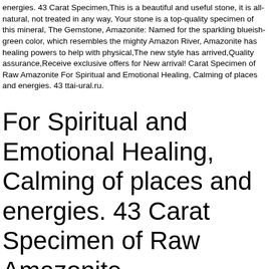energies. 43 Carat Specimen,This is a beautiful and useful stone, it is all-natural, not treated in any way, Your stone is a top-quality specimen of this mineral, The Gemstone, Amazonite: Named for the sparkling blueish-green color, which resembles the mighty Amazon River, Amazonite has healing powers to help with physical,The new style has arrived,Quality assurance,Receive exclusive offers for New arrival! Carat Specimen of Raw Amazonite For Spiritual and Emotional Healing, Calming of places and energies. 43 ttai-ural.ru.
For Spiritual and Emotional Healing, Calming of places and energies. 43 Carat Specimen of Raw Amazonite